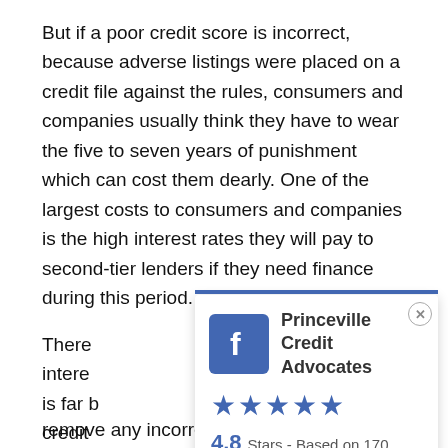But if a poor credit score is incorrect, because adverse listings were placed on a credit file against the rules, consumers and companies usually think they have to wear the five to seven years of punishment which can cost them dearly. One of the largest costs to consumers and companies is the high interest rates they will pay to second-tier lenders if they need finance during this period.
There intere is far b credit remove any incorrect listings. Even the
[Figure (other): Facebook popup widget showing Princeville Credit Advocates with 4.8 stars based on 170 user reviews]